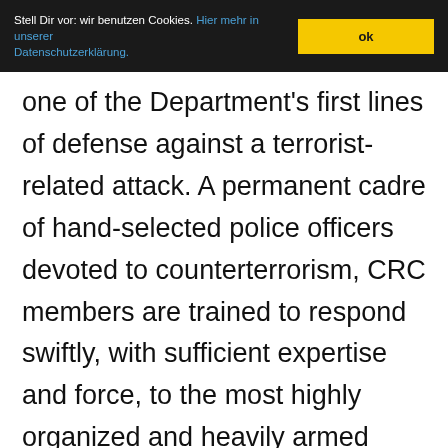Stell Dir vor: wir benutzen Cookies. Hier mehr in unserer Datenschutzerklärung. ok
one of the Department's first lines of defense against a terrorist-related attack. A permanent cadre of hand-selected police officers devoted to counterterrorism, CRC members are trained to respond swiftly, with sufficient expertise and force, to the most highly organized and heavily armed attacks. All CRC team members